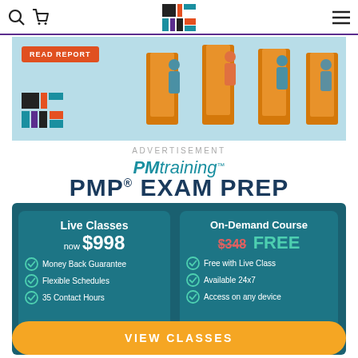PMI navigation bar with search, cart, PMI logo, and menu icons
[Figure (illustration): PMI banner with READ REPORT button, PMI logo, and isometric illustration of people passing through doors]
ADVERTISEMENT
[Figure (logo): PMtraining logo in teal italic font]
PMP® EXAM PREP
[Figure (infographic): Teal advertisement box with two panels: Live Classes now $998 with Money Back Guarantee, Flexible Schedules, 35 Contact Hours; On-Demand Course $348 strikethrough FREE with Free with Live Class, Available 24x7, Access on any device; and VIEW CLASSES button in orange]